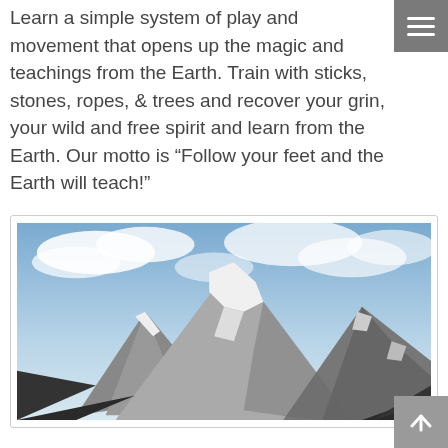Learn a simple system of play and movement that opens up the magic and teachings from the Earth. Train with sticks, stones, ropes, & trees and recover your grin, your wild and free spirit and learn from the Earth. Our motto is “Follow your feet and the Earth will teach!”
[Figure (photo): Photograph of snow-capped mountain peaks with clouds in the background and dark rocky ridges in the foreground]